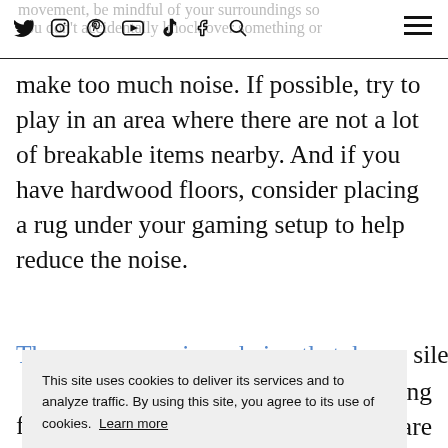Social media icons: Twitter, Instagram, Pinterest, YouTube, TikTok, Facebook, Search | Hamburger menu
movement, be mindful of your surroundings so you don't accidentally knock over something or make too much noise. If possible, try to play in an area where there are not a lot of breakable items nearby. And if you have hardwood floors, consider placing a rug under your gaming setup to help reduce the noise.
There are gaming chairs that have silent w... a... ving are l... much n... und w... uch n... opt for carpeting to help reduce noise.
[Figure (screenshot): Cookie consent dialog overlay: 'This site uses cookies to deliver its services and to analyze traffic. By using this site, you agree to its use of cookies. Learn more' with an OK button.]